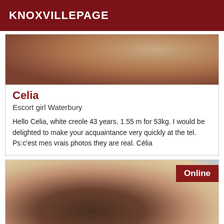KNOXVILLEPAGE
[Figure (photo): Close-up photo of a person, skin tones visible, cropped upper body]
Celia
Escort girl Waterbury
Hello Celia, white creole 43 years, 1.55 m for 53kg. I would be delighted to make your acquaintance very quickly at the tel. Ps:c'est mes vrais photos they are real. Célia
[Figure (photo): Close-up photo of a person's head with dark hair, outdoor background with buildings visible. Online badge in top right corner.]